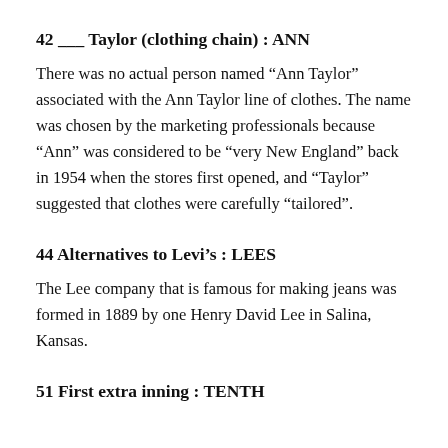42 ___ Taylor (clothing chain) : ANN
There was no actual person named “Ann Taylor” associated with the Ann Taylor line of clothes. The name was chosen by the marketing professionals because “Ann” was considered to be “very New England” back in 1954 when the stores first opened, and “Taylor” suggested that clothes were carefully “tailored”.
44 Alternatives to Levi’s : LEES
The Lee company that is famous for making jeans was formed in 1889 by one Henry David Lee in Salina, Kansas.
51 First extra inning : TENTH